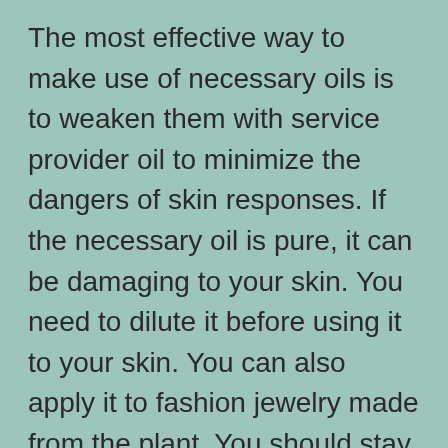The most effective way to make use of necessary oils is to weaken them with service provider oil to minimize the dangers of skin responses. If the necessary oil is pure, it can be damaging to your skin. You need to dilute it before using it to your skin. You can also apply it to fashion jewelry made from the plant. You should stay clear of contact with your eyes as well as skin with important oils. These will certainly not just enhance their benefits however likewise enhance your total wellness. When you are not allergic to any particular chemical, you ought to stay clear of purchasing synthetics.